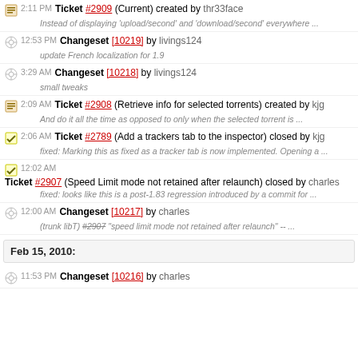2:11 PM Ticket #2909 (Current) created by thr33face
Instead of displaying 'upload/second' and 'download/second' everywhere ...
12:53 PM Changeset [10219] by livings124
update French localization for 1.9
3:29 AM Changeset [10218] by livings124
small tweaks
2:09 AM Ticket #2908 (Retrieve info for selected torrents) created by kjg
And do it all the time as opposed to only when the selected torrent is ...
2:06 AM Ticket #2789 (Add a trackers tab to the inspector) closed by kjg
fixed: Marking this as fixed as a tracker tab is now implemented. Opening a ...
12:02 AM Ticket #2907 (Speed Limit mode not retained after relaunch) closed by charles
fixed: looks like this is a post-1.83 regression introduced by a commit for ...
12:00 AM Changeset [10217] by charles
(trunk libT) #2907 "speed limit mode not retained after relaunch" -- ...
Feb 15, 2010:
11:53 PM Changeset [10216] by charles